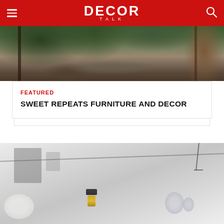DECOR TALK
[Figure (photo): Outdoor garden scene with wooden structures, stones, and greenery, brick wall visible on right]
FEATURED
SWEET REPEATS FURNITURE AND DECOR
[Figure (photo): Close-up of decorative pendant light bulbs on wire or hanging lamp fixture against white wall with art prints]